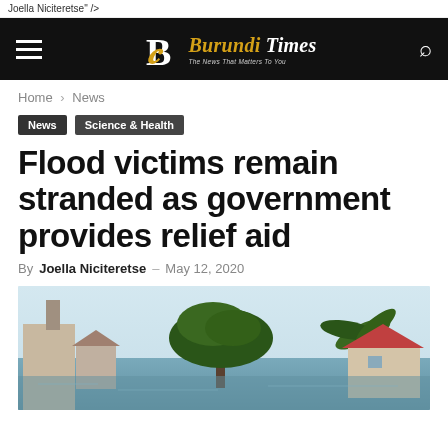Joella Niciteretse" />
Burundi Times — The News That Matters To You
Home › News
News
Science & Health
Flood victims remain stranded as government provides relief aid
By Joella Niciteretse – May 12, 2020
[Figure (photo): Flood scene showing partially submerged buildings with a large tree in the center, a palm tree on the right, and houses with brown/red roofs. The foreground shows floodwater.]